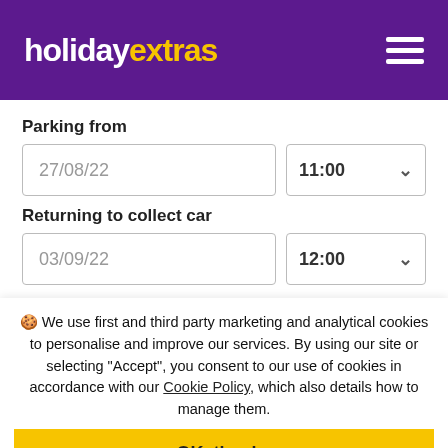holidayextras
Parking from
27/08/22  11:00
Returning to collect car
03/09/22  12:00
Search
🍪 We use first and third party marketing and analytical cookies to personalise and improve our services. By using our site or selecting "Accept", you consent to our use of cookies in accordance with our Cookie Policy, which also details how to manage them.
OK, thanks